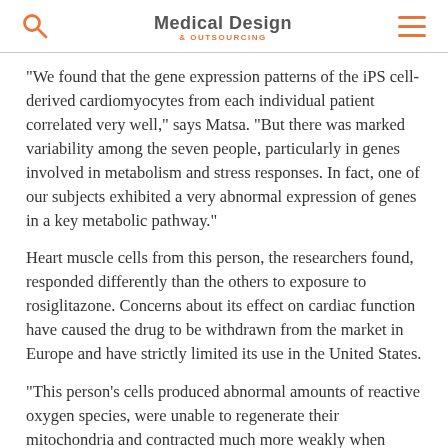Medical Design & Outsourcing
“We found that the gene expression patterns of the iPS cell-derived cardiomyocytes from each individual patient correlated very well,” says Matsa. “But there was marked variability among the seven people, particularly in genes involved in metabolism and stress responses. In fact, one of our subjects exhibited a very abnormal expression of genes in a key metabolic pathway.”
Heart muscle cells from this person, the researchers found, responded differently than the others to exposure to rosiglitazone. Concerns about its effect on cardiac function have caused the drug to be withdrawn from the market in Europe and have strictly limited its use in the United States.
“This person’s cells produced abnormal amounts of reactive oxygen species, were unable to regenerate their mitochondria and contracted much more weakly when exposed to